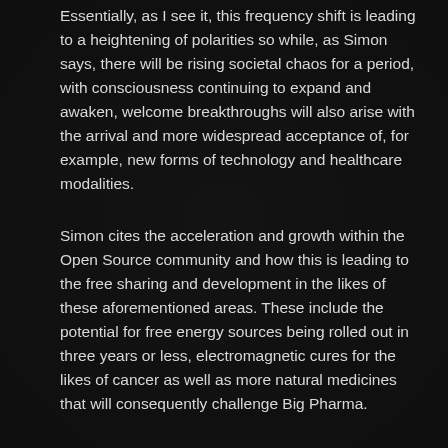Essentially, as I see it, this frequency shift is leading to a heightening of polarities so while, as Simon says, there will be rising societal chaos for a period, with consciousness continuing to expand and awaken, welcome breakthroughs will also arise with the arrival and more widespread acceptance of, for example, new forms of technology and healthcare modalities.
Simon cites the acceleration and growth within the Open Source community and how this is leading to the free sharing and development in the likes of these aforementioned areas. These include the potential for free energy sources being rolled out in three years or less, electromagnetic cures for the likes of cancer as well as more natural medicines that will consequently challenge Big Pharma.
In relation to this he says the more that you share with others, the more abundance you receive because what you're in effect doing is releasing